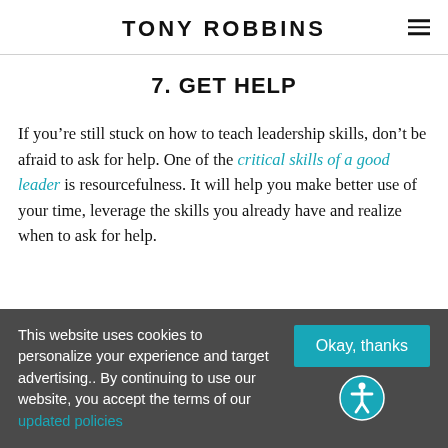TONY ROBBINS
7. GET HELP
If you’re still stuck on how to teach leadership skills, don’t be afraid to ask for help. One of the critical skills of a good leader is resourcefulness. It will help you make better use of your time, leverage the skills you already have and realize when to ask for help.
This website uses cookies to personalize your experience and target advertising.. By continuing to use our website, you accept the terms of our updated policies